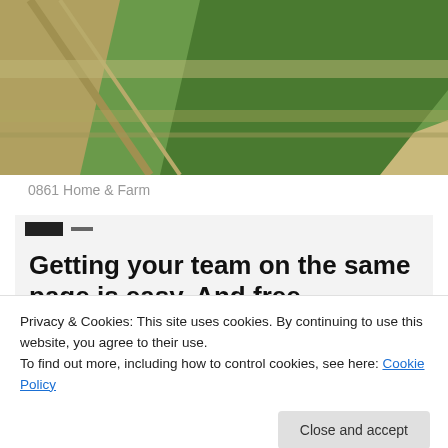[Figure (photo): Aerial photograph of farmland showing fields with green crops and brown soil with roads visible from above]
0861 Home & Farm
[Figure (screenshot): Screenshot of a web application showing bold headline text 'Getting your team on the same page is easy. And free.' with four user avatar circles below on a light gray background]
Privacy & Cookies: This site uses cookies. By continuing to use this website, you agree to their use.
To find out more, including how to control cookies, see here: Cookie Policy
Close and accept
Some people might say Kansas isn't interesting but we